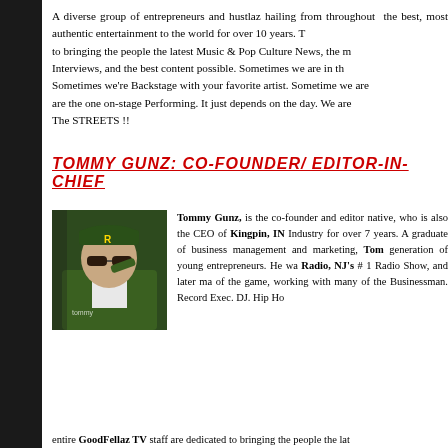A diverse group of entrepreneurs and hustlaz hailing from throughout the best, most authentic entertainment to the world for over 10 years. T to bringing the people the latest Music & Pop Culture News, the m Interviews, and the best content possible. Sometimes we are in th Sometimes we're Backstage with your favorite artist. Sometime we are are the one on-stage Performing. It just depends on the day. We are The STREETS !!
TOMMY GUNZ: CO-FOUNDER/ EDITOR-IN-CHIEF
[Figure (photo): Photo of Tommy Gunz wearing a green jacket and cap with sunglasses, adjusting his sunglasses]
Tommy Gunz, is the co-founder and editor native, who is also the CEO of Kingpin, IN Industry for over 7 years. A graduate of business management and marketing, Tom generation of young entrepreneurs. He wa Radio, NJ's # 1 Radio Show, and later ma of the game, working with many of the Businessman. Record Exec. DJ. Hip Ho
entire GoodFellaz TV staff are dedicated to bringing the people the lat